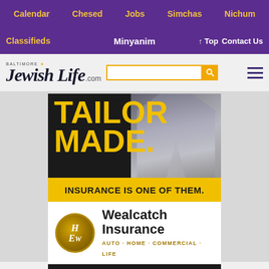Calendar | Chesed | Jobs | Simchas | Nichum
Classifieds | Minyanim | ↑ Top | Contact Us
[Figure (logo): Baltimore Jewish Life .com logo with search bar and hamburger menu]
[Figure (infographic): Wealcatch Insurance advertisement. TAILOR MADE. INSURANCE IS ONE OF THEM. Wealcatch Insurance AUTO · HOME · COMMERCIAL · LIFE. 37 WALKER AVE. SUITE 200 • 410.653.3053]
Local News | 2 hours ago